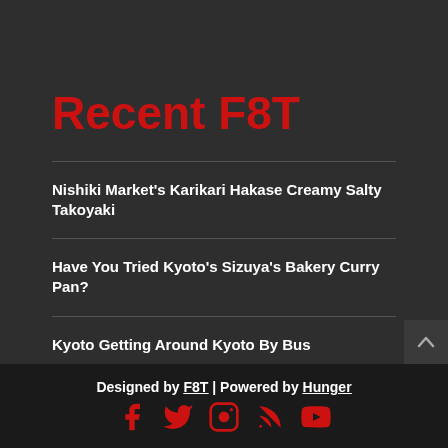Recent F8T
Nishiki Market's Karikari Hakase Creamy Salty Takoyaki
Have You Tried Kyoto's Sizuya's Bakery Curry Pan?
Kyoto Getting Around Kyoto By Bus
Designed by F8T | Powered by Hunger